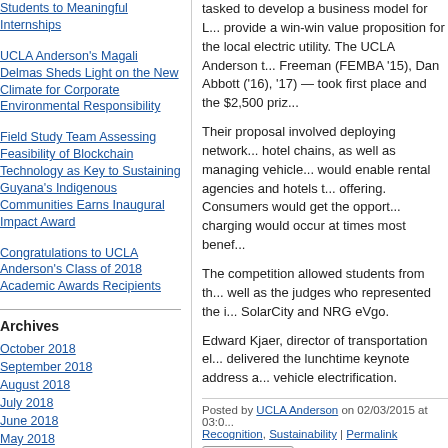Students to Meaningful Internships
UCLA Anderson's Magali Delmas Sheds Light on the New Climate for Corporate Environmental Responsibility
Field Study Team Assessing Feasibility of Blockchain Technology as Key to Sustaining Guyana's Indigenous Communities Earns Inaugural Impact Award
Congratulations to UCLA Anderson's Class of 2018 Academic Awards Recipients
Archives
October 2018
September 2018
August 2018
July 2018
June 2018
May 2018
April 2018
March 2018
February 2018
January 2018
More...
tasked to develop a business model for L... provide a win-win value proposition for the local electric utility. The UCLA Anderson t... Freeman (FEMBA '15), Dan Abbott ('16), '17) — took first place and the $2,500 priz...
Their proposal involved deploying network... hotel chains, as well as managing vehicle... would enable rental agencies and hotels t... offering. Consumers would get the opport... charging would occur at times most benef...
The competition allowed students from th... well as the judges who represented the i... SolarCity and NRG eVgo.
Edward Kjaer, director of transportation el... delivered the lunchtime keynote address a... vehicle electrification.
Posted by UCLA Anderson on 02/03/2015 at 03:0... Recognition, Sustainability | Permalink
Reblog (0)  Digg This  Save to del.i...
Comments
The comments to this entry are closed.